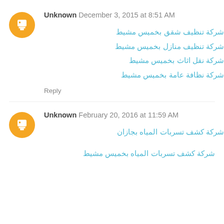Unknown December 3, 2015 at 8:51 AM
شركة تنظيف شقق بخميس مشيط
شركة تنظيف منازل بخميس مشيط
شركة نقل اثاث بخميس مشيط
شركة نظافة عامة بخميس مشيط
Reply
Unknown February 20, 2016 at 11:59 AM
شركة كشف تسربات المياه بجازان
شركة كشف تسربات المياه بخميس مشيط